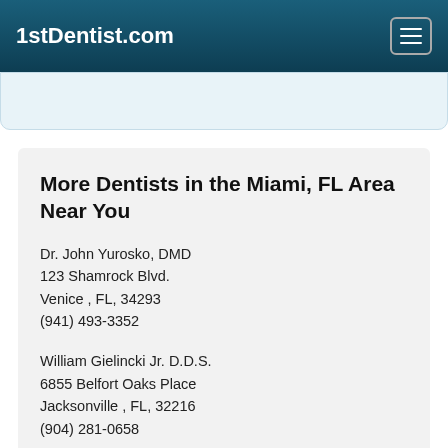1stDentist.com
More Dentists in the Miami, FL Area Near You
Dr. John Yurosko, DMD
123 Shamrock Blvd.
Venice , FL, 34293
(941) 493-3352
William Gielincki Jr. D.D.S.
6855 Belfort Oaks Place
Jacksonville , FL, 32216
(904) 281-0658
Doctor - Activate Your Free 1stDentist Directory Listing
Cosmetic and Implant Dentistry